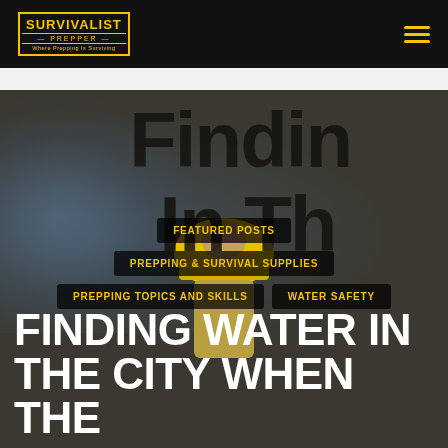SURVIVALIST PREPPER — Where Prepping Is Surviving
[Figure (photo): Hero background image showing a person in a yellow hard hat with water splashing, overlaid with large dark text reading 'Findin In Th' partially visible.]
FEATURED POSTS
PREPPING & SURVIVAL SUPPLIES
PREPPING TOPICS AND SKILLS
WATER SAFETY
FINDING WATER IN THE CITY WHEN THE